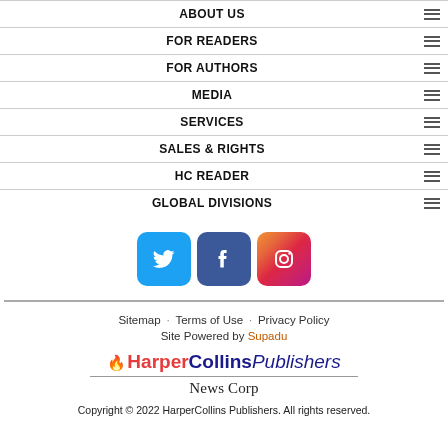ABOUT US
FOR READERS
FOR AUTHORS
MEDIA
SERVICES
SALES & RIGHTS
HC READER
GLOBAL DIVISIONS
[Figure (infographic): Social media icons: Twitter (blue), Facebook (dark blue), Instagram (gradient)]
Sitemap · Terms of Use · Privacy Policy
Site Powered by Supadu
[Figure (logo): HarperCollins Publishers logo with flame icon and News Corp script below]
Copyright © 2022 HarperCollins Publishers. All rights reserved.